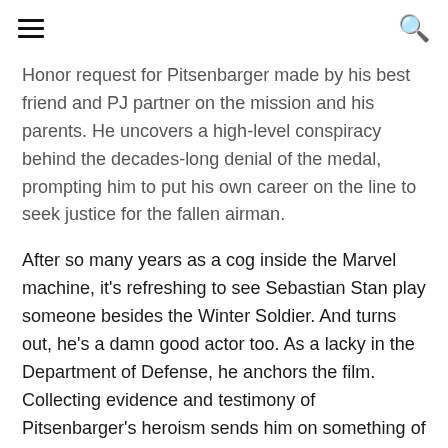[hamburger menu icon] [search icon]
Honor request for Pitsenbarger made by his best friend and PJ partner on the mission and his parents. He uncovers a high-level conspiracy behind the decades-long denial of the medal, prompting him to put his own career on the line to seek justice for the fallen airman.
After so many years as a cog inside the Marvel machine, it's refreshing to see Sebastian Stan play someone besides the Winter Soldier. And turns out, he's a damn good actor too. As a lacky in the Department of Defense, he anchors the film. Collecting evidence and testimony of Pitsenbarger's heroism sends him on something of a road trip. On his stops, we get treated to a killer cast, including legends Christopher Plummer, William Hurt, Ed Harris, Samuel L. Jackson, and Peter Fonda in his last film role. All the men do a great job. Instead of phoning it